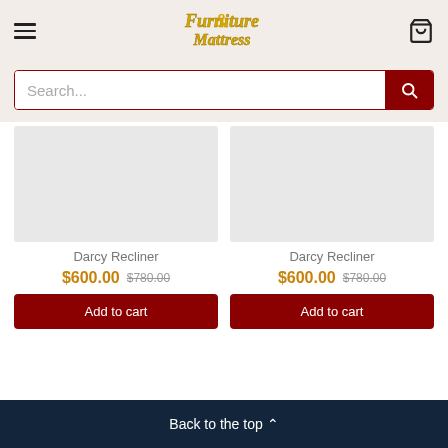[Figure (screenshot): Furniture & Mattress store website screenshot with header, search bar, two Darcy Recliner product cards at $600.00 (was $780.00), Add to cart buttons, and a dark navy footer with Back to the top link.]
Search...
Darcy Recliner
$600.00  $780.00
Add to cart
Darcy Recliner
$600.00  $780.00
Add to cart
Back to the top ^